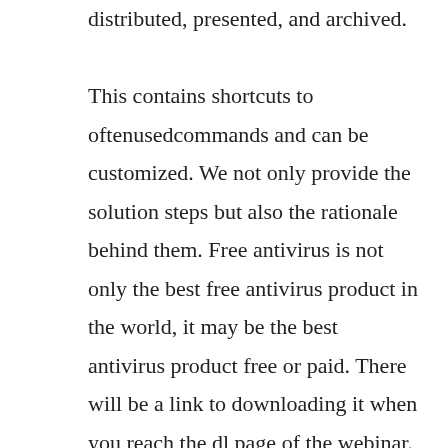distributed, presented, and archived. This contains shortcuts to oftenusedcommands and can be customized. We not only provide the solution steps but also the rationale behind them. Free antivirus is not only the best free antivirus product in the world, it may be the best antivirus product free or paid. There will be a link to downloading it when you reach the dl page of the webinar. For the bearing supports i have used compression only supports, and i probe reaction force for all bearing supports. I use 2 solid and using solution 2011 in t...